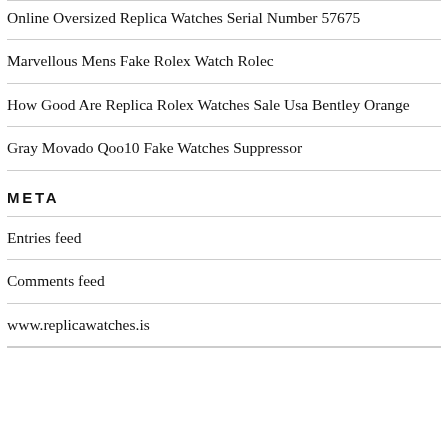Online Oversized Replica Watches Serial Number 57675
Marvellous Mens Fake Rolex Watch Rolec
How Good Are Replica Rolex Watches Sale Usa Bentley Orange
Gray Movado Qoo10 Fake Watches Suppressor
META
Entries feed
Comments feed
www.replicawatches.is